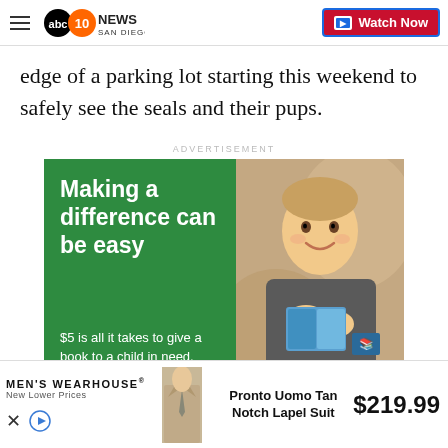ABC 10News San Diego | Watch Now
edge of a parking lot starting this weekend to safely see the seals and their pups.
ADVERTISEMENT
[Figure (illustration): Advertisement for a literacy charity: green background with bold white text 'Making a difference can be easy' and '$5 is all it takes to give a book to a child in need.' Right half shows a smiling boy holding a book.]
[Figure (illustration): Men's Wearhouse advertisement banner: brand name, suit photo, 'Pronto Uomo Tan Notch Lapel Suit', price $219.99]